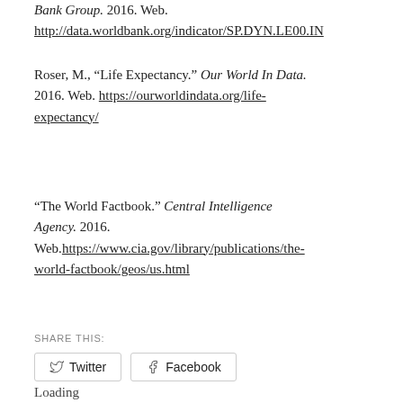Bank Group. 2016. Web. http://data.worldbank.org/indicator/SP.DYN.LE00.IN
Roser, M., “Life Expectancy.” Our World In Data. 2016. Web. https://ourworldindata.org/life-expectancy/
“The World Factbook.” Central Intelligence Agency. 2016. Web.https://www.cia.gov/library/publications/the-world-factbook/geos/us.html
SHARE THIS:
Twitter  Facebook
Loading